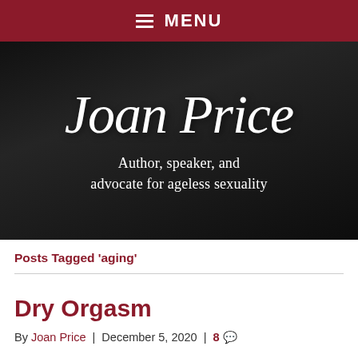MENU
[Figure (illustration): Joan Price website hero banner with cursive 'Joan Price' name and tagline 'Author, speaker, and advocate for ageless sexuality' on dark background]
Posts Tagged 'aging'
Dry Orgasm
By Joan Price | December 5, 2020 | 8 comments